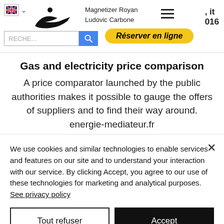[Figure (screenshot): Website navigation bar with flag icon, logo (bird/hand silhouette), brand name 'Magnetizer Royan Ludovic Carbone', hamburger menu, phone number '016', search bar with blue search button, and yellow 'Réserver en ligne' button]
Gas and electricity price comparison
A price comparator launched by the public authorities makes it possible to gauge the offers of suppliers and to find their way around. energie-mediateur.fr
We use cookies and similar technologies to enable services and features on our site and to understand your interaction with our service. By clicking Accept, you agree to our use of these technologies for marketing and analytical purposes. See privacy policy
Tout refuser
Accept
Cookie settings